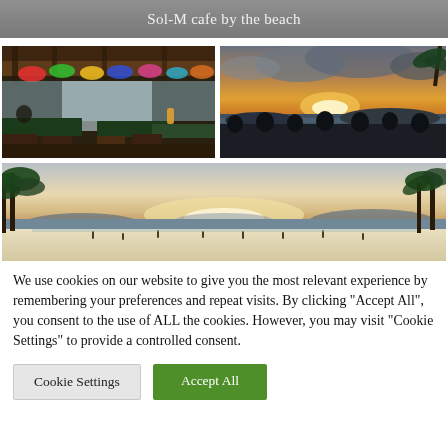Sol-M cafe by the beach
[Figure (photo): Interior of a beach cafe with colorful umbrella decorations on the ceiling, wooden tables and chairs, tropical outdoor setting]
[Figure (photo): Sunset view over the sea with silhouettes of people sitting at outdoor tables, orange and grey clouds in the sky]
[Figure (photo): Panoramic view of a beach at sunset with white sand, people walking, palm trees on sides, mountains in the distance]
We use cookies on our website to give you the most relevant experience by remembering your preferences and repeat visits. By clicking "Accept All", you consent to the use of ALL the cookies. However, you may visit "Cookie Settings" to provide a controlled consent.
Cookie Settings
Accept All